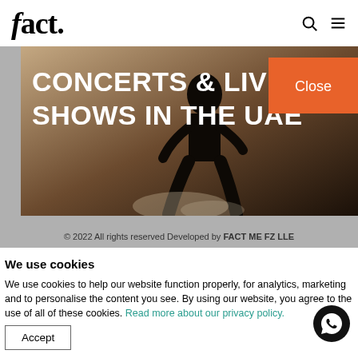fact.
[Figure (photo): Hero image of a performer on stage with text overlay 'CONCERTS & LIVE SHOWS IN THE UAE' and an orange Close button]
© 2022 All rights reserved Developed by FACT ME FZ LLE
We use cookies
We use cookies to help our website function properly, for analytics, marketing and to personalise the content you see. By using our website, you agree to the use of all of these cookies. Read more about our privacy policy.
Accept